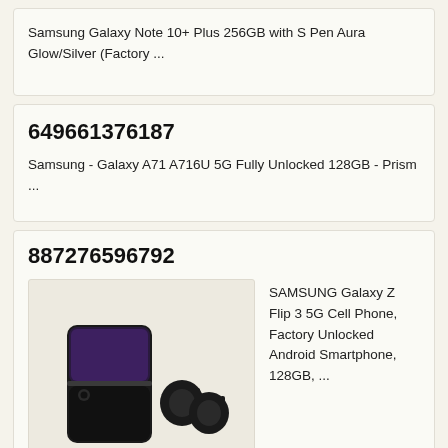Samsung Galaxy Note 10+ Plus 256GB with S Pen Aura Glow/Silver (Factory ...
649661376187
Samsung - Galaxy A71 A716U 5G Fully Unlocked 128GB - Prism ...
887276596792
[Figure (photo): Product photo of Samsung Galaxy Z Flip 3 5G smartphone (folded, black) shown with two black earbuds]
SAMSUNG Galaxy Z Flip 3 5G Cell Phone, Factory Unlocked Android Smartphone, 128GB, ...